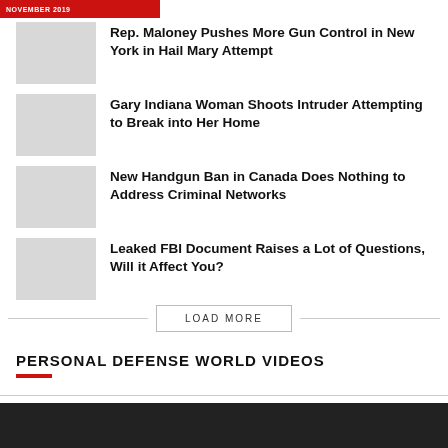NOVEMBER 2019
Rep. Maloney Pushes More Gun Control in New York in Hail Mary Attempt
Gary Indiana Woman Shoots Intruder Attempting to Break into Her Home
New Handgun Ban in Canada Does Nothing to Address Criminal Networks
Leaked FBI Document Raises a Lot of Questions, Will it Affect You?
LOAD MORE
PERSONAL DEFENSE WORLD VIDEOS